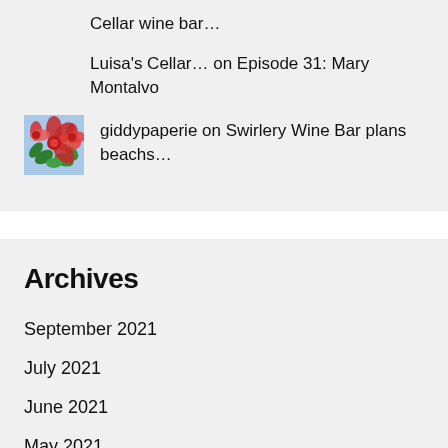Cellar wine bar…
Luisa's Cellar… on Episode 31: Mary Montalvo
giddypaperie on Swirlery Wine Bar plans beachs…
Archives
September 2021
July 2021
June 2021
May 2021